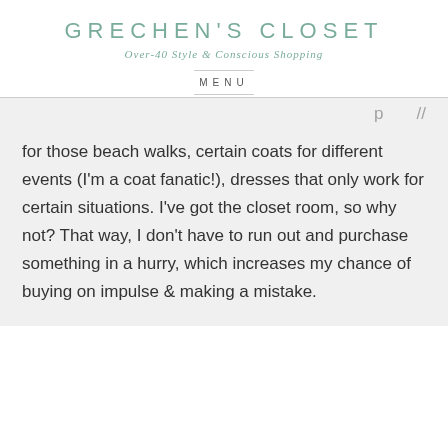GRECHEN'S CLOSET
Over-40 Style & Conscious Shopping
MENU
for those beach walks, certain coats for different events (I'm a coat fanatic!), dresses that only work for certain situations. I've got the closet room, so why not? That way, I don't have to run out and purchase something in a hurry, which increases my chance of buying on impulse & making a mistake.